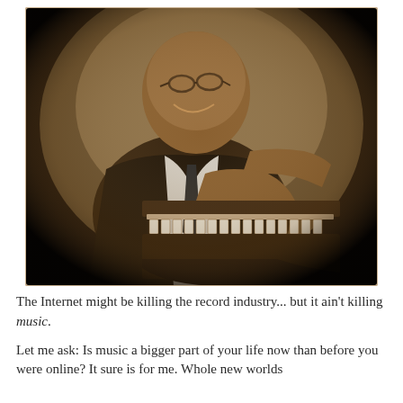[Figure (photo): Sepia-toned portrait photograph of an elderly Black man wearing glasses and a suit, smiling, leaning forward with his hands resting on what appears to be a small upright piano. The photo has a vignette border effect.]
The Internet might be killing the record industry... but it ain't killing music.
Let me ask: Is music a bigger part of your life now than before you were online? It sure is for me. Whole new worlds